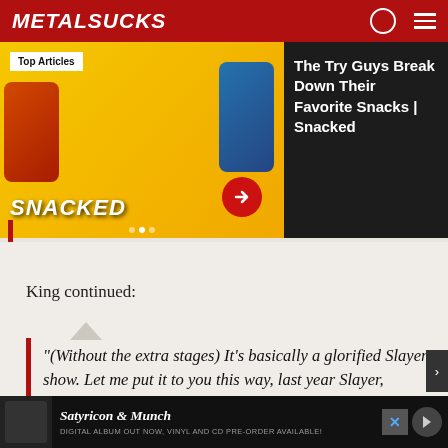MetalSucks
[Figure (screenshot): Video thumbnail for 'The Try Guys Break Down Their Favorite Snacks | Snacked' with Top Articles badge, three men posing with snack foods on yellow background, SNACKED text overlay and red play button arrow. Dark sidebar with article title text.]
King continued:
“(Without the extra stages) It’s basically a glorified Slayer show. Let me put it to you this way, last year Slayer, Suicidal (Tendencies), an... Mi...
[Figure (screenshot): Bottom advertisement banner for Satyricon & Munch: Digital Album Out Now, Vinyl and CD Pre-Order Available!]